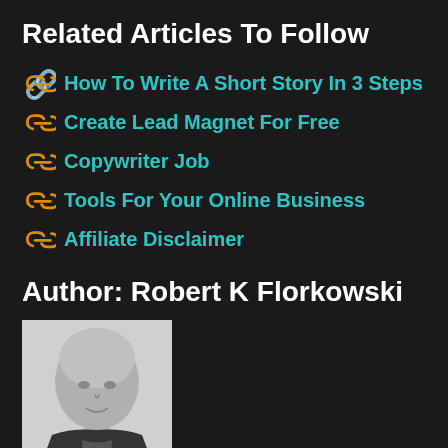Related Articles To Follow
How To Write A Short Story In 3 Steps
Create Lead Magnet For Free
Copywriter Job
Tools For Your Online Business
Affiliate Disclaimer
Author: Robert K Florkowski
[Figure (photo): Black and white headshot photo of a bald middle-aged man in a dark jacket]
I am a self-made entrepreneur and life coach with a mission to exemplify what is possible for anyone who commits